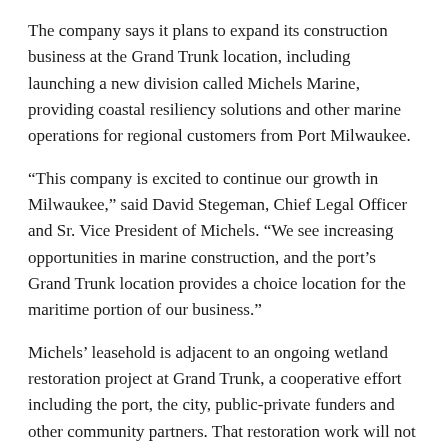The company says it plans to expand its construction business at the Grand Trunk location, including launching a new division called Michels Marine, providing coastal resiliency solutions and other marine operations for regional customers from Port Milwaukee.
“This company is excited to continue our growth in Milwaukee,” said David Stegeman, Chief Legal Officer and Sr. Vice President of Michels. “We see increasing opportunities in marine construction, and the port’s Grand Trunk location provides a choice location for the maritime portion of our business.”
Michels’ leasehold is adjacent to an ongoing wetland restoration project at Grand Trunk, a cooperative effort including the port, the city, public-private funders and other community partners. That restoration work will not be adversely affected by the company’s growth.
“The long-term commitment by Michels is an affirmation that Port Milwaukee is an important center of economic activity in the region,” Port Director Adam Tindall-Schlicht said. “This agreement takes advantage of the port’s unique offerings including transportation infrastructure, docking facilities, and a central location that provides convenient access to